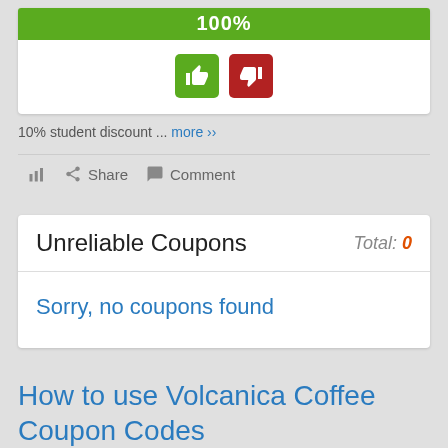[Figure (infographic): Green progress bar showing 100% with thumbs up (green) and thumbs down (red) buttons below]
10% student discount ... more ››
Share   Comment
Unreliable Coupons
Total: 0
Sorry, no coupons found
How to use Volcanica Coffee Coupon Codes